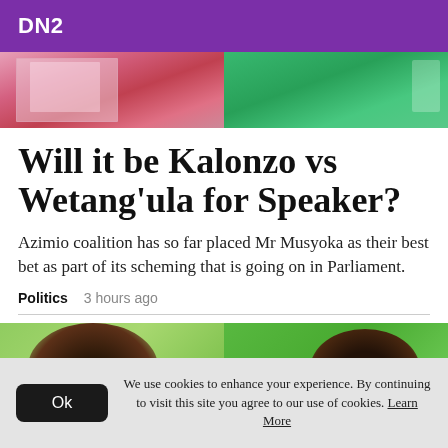DN2
[Figure (photo): Two-panel image strip at top: left panel shows pink/red background with a patterned fabric garment; right panel shows green background with a person in green attire holding something.]
Will it be Kalonzo vs Wetang'ula for Speaker?
Azimio coalition has so far placed Mr Musyoka as their best bet as part of its scheming that is going on in Parliament.
Politics   3 hours ago
[Figure (photo): Two-panel image strip at bottom: left panel shows a person with dark skin and short hair against a green background; right panel shows another person with curly hair against a green/white background.]
We use cookies to enhance your experience. By continuing to visit this site you agree to our use of cookies. Learn More